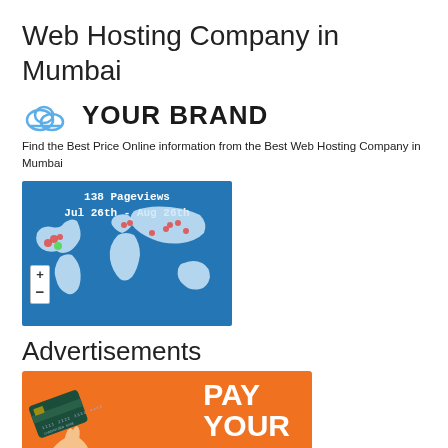Web Hosting Company in Mumbai
[Figure (logo): Cloud icon with YOUR BRAND text]
Find the Best Price Online information from the Best Web Hosting Company in Mumbai
[Figure (map): World map with 138 Pageviews Jul 26th - Aug 26th, showing visitor dots across the globe on a blue background]
Advertisements
[Figure (infographic): Orange advertisement banner showing a credit card and hand with PAY YOUR BILL text]